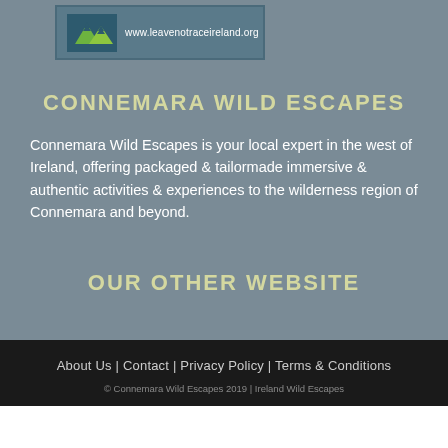[Figure (logo): Leave No Trace Ireland logo with mountain and tree icons, showing www.leavenotraceireland.org]
CONNEMARA WILD ESCAPES
Connemara Wild Escapes is your local expert in the west of Ireland, offering packaged & tailormade immersive & authentic activities & experiences to the wilderness region of Connemara and beyond.
OUR OTHER WEBSITE
About Us | Contact | Privacy Policy | Terms & Conditions
© Connemara Wild Escapes 2019 | Ireland Wild Escapes